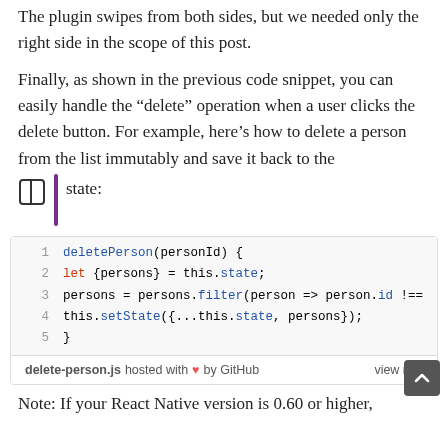The plugin swipes from both sides, but we needed only the right side in the scope of this post.
Finally, as shown in the previous code snippet, you can easily handle the “delete” operation when a user clicks the delete button. For example, here’s how to delete a person from the list immutably and save it back to the state:
[Figure (screenshot): Code snippet showing a deletePerson function in JavaScript with 5 lines: line 1 deletePerson(personId) {, line 2 let {persons} = this.state;, line 3 persons = persons.filter(person => person.id !==, line 4 this.setState({...this.state, persons});, line 5 }. Footer shows delete-person.js hosted with heart by GitHub and view raw link.]
Note: If your React Native version is 0.60 or higher,